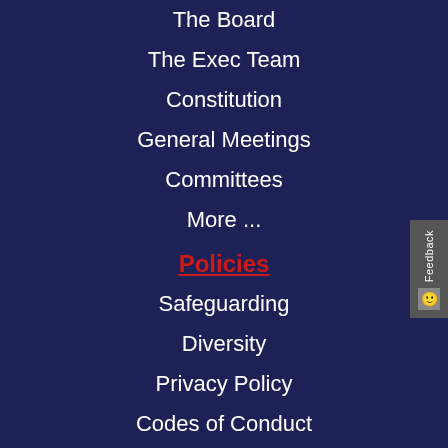The Board
The Exec Team
Constitution
General Meetings
Committees
More ...
Policies
Safeguarding
Diversity
Privacy Policy
Codes of Conduct
Disciplinary
More ...